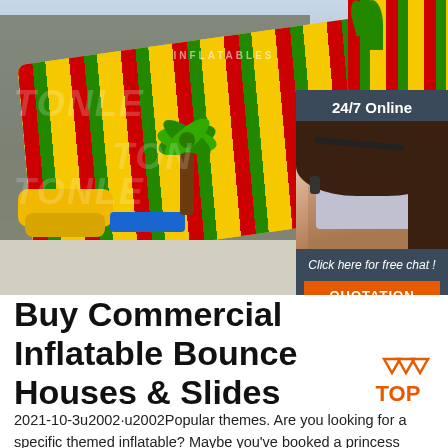[Figure (photo): Large inflatable water slide with yellow, red, and green stripes, palm tree decoration, and yellow landing cushion outside a warehouse. 'TONLE INFLATABLES' watermark visible. Overlaid with a customer service chat widget showing '24/7 Online' text, a woman with a headset, 'Click here for free chat!' text, and an orange 'QUOTATION' button.]
Buy Commercial Inflatable Bounce Houses & Slides
2021-10-3u2002·u2002Popular themes. Are you looking for a specific themed inflatable? Maybe you've booked a princess party, or you want your indoor inflatable center to